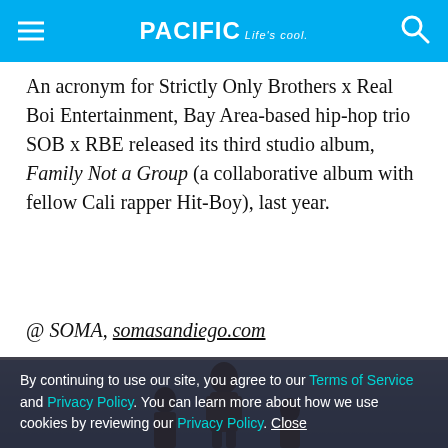PACIFIC Life's cool.
An acronym for Strictly Only Brothers x Real Boi Entertainment, Bay Area-based hip-hop trio SOB x RBE released its third studio album, Family Not a Group (a collaborative album with fellow Cali rapper Hit-Boy), last year.
@ SOMA, somasandiego.com
[Figure (photo): Photo of hip-hop artists against a blue sky background; one figure prominently centered.]
By continuing to use our site, you agree to our Terms of Service and Privacy Policy. You can learn more about how we use cookies by reviewing our Privacy Policy. Close